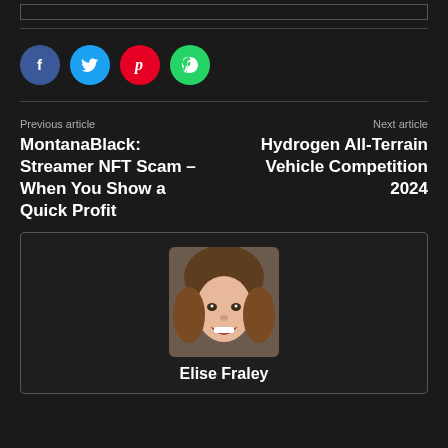[Figure (other): Empty bordered box at top of page]
[Figure (infographic): Social sharing icons: Facebook (blue circle with f), Twitter (cyan circle with bird), Pinterest (red circle with p), WhatsApp (green circle with phone)]
Previous article
MontanaBlack: Streamer NFT Scam – When You Show a Quick Profit
Next article
Hydrogen All-Terrain Vehicle Competition 2024
[Figure (photo): Portrait photo of Elise Fraley, a smiling woman with brown wavy hair]
Elise Fraley